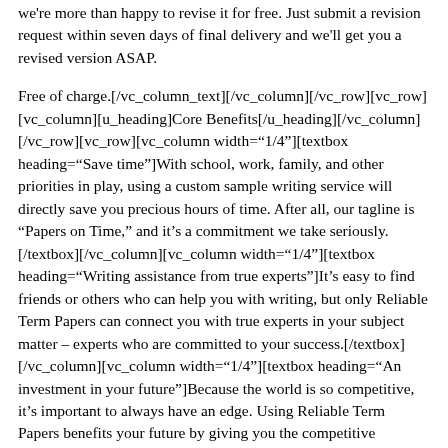we're more than happy to revise it for free. Just submit a revision request within seven days of final delivery and we'll get you a revised version ASAP.
Free of charge.[/vc_column_text][/vc_column][/vc_row][vc_row][vc_column][u_heading]Core Benefits[/u_heading][/vc_column][/vc_row][vc_row][vc_column width="1/4"][textbox heading="Save time"]With school, work, family, and other priorities in play, using a custom sample writing service will directly save you precious hours of time. After all, our tagline is "Papers on Time," and it's a commitment we take seriously.[/textbox][/vc_column][vc_column width="1/4"][textbox heading="Writing assistance from true experts"]It's easy to find friends or others who can help you with writing, but only Reliable Term Papers can connect you with true experts in your subject matter – experts who are committed to your success.[/textbox][/vc_column][vc_column width="1/4"][textbox heading="An investment in your future"]Because the world is so competitive, it's important to always have an edge. Using Reliable Term Papers benefits your future by giving you the competitive advantage of expert writing help at your fingertips. [/textbox][/vc_column][vc_column width="1/4"]